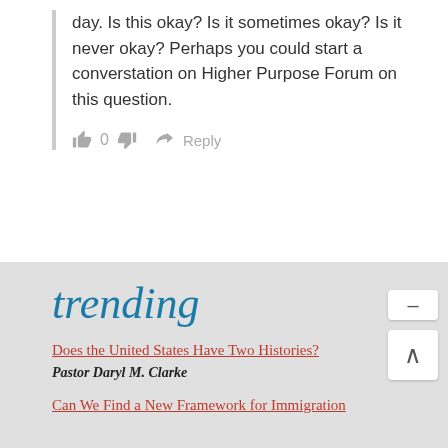day. Is this okay? Is it sometimes okay? Is it never okay? Perhaps you could start a converstation on Higher Purpose Forum on this question.
👍 0 👎 → Reply
trending
Does the United States Have Two Histories?
Pastor Daryl M. Clarke
Can We Find a New Framework for Immigration